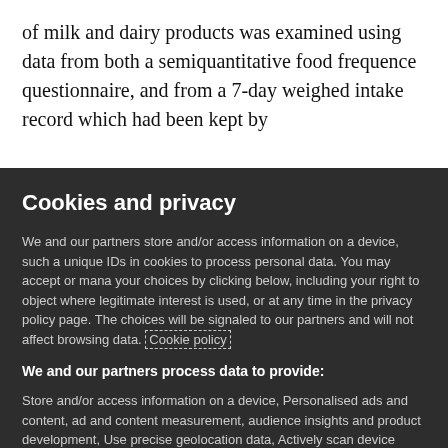of milk and dairy products was examined using data from both a semiquantitative food frequence questionnaire, and from a 7-day weighed intake record which had been kept by
Cookies and privacy
We and our partners store and/or access information on a device, such as unique IDs in cookies to process personal data. You may accept or manage your choices by clicking below, including your right to object where legitimate interest is used, or at any time in the privacy policy page. These choices will be signaled to our partners and will not affect browsing data. Cookie policy
We and our partners process data to provide:
Store and/or access information on a device, Personalised ads and content, ad and content measurement, audience insights and product development, Use precise geolocation data, Actively scan device characteristics for identification
List of Partners (vendors)
I Accept